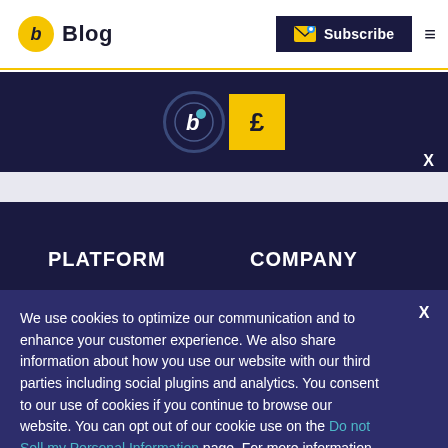Blog
[Figure (logo): Blog logo with yellow circle containing 'b' and text 'Blog']
[Figure (logo): Subscribe button with envelope icon on dark navy background]
[Figure (logo): Modal bar with circular 'b' logo and yellow square logo]
PLATFORM
COMPANY
CDP
Our Team
Email
Contact
We use cookies to optimize our communication and to enhance your customer experience. We also share information about how you use our website with our third parties including social plugins and analytics. You consent to our use of cookies if you continue to browse our website. You can opt out of our cookie use on the Do not Sell my Personal Information page. For more information please see our Privacy Policy.